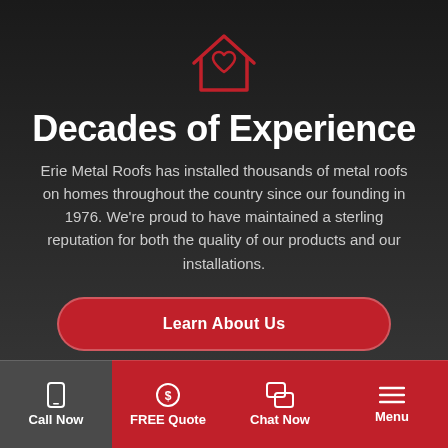[Figure (illustration): Red outline house icon with a heart shape inside, on dark background]
Decades of Experience
Erie Metal Roofs has installed thousands of metal roofs on homes throughout the country since our founding in 1976. We're proud to have maintained a sterling reputation for both the quality of our products and our installations.
Learn About Us
Call Now | FREE Quote | Chat Now | Menu